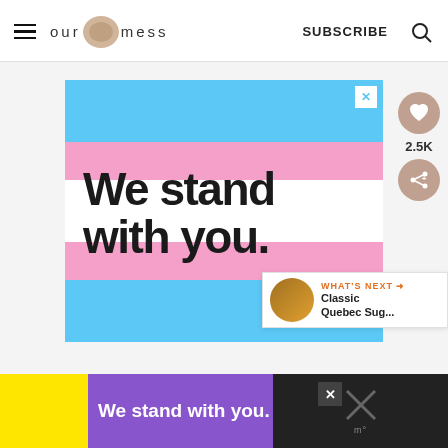ourhappymess — SUBSCRIBE
[Figure (illustration): Advertisement banner with transgender pride flag colors (blue, pink, white stripes) and bold text 'We stand with you.' with a close X button in the top right corner]
2.5K
WHAT'S NEXT → Classic Quebec Sug...
[Figure (illustration): Bottom advertisement bar on dark background showing 'We stand with you.' text on yellow and purple sections, with an X close button and decorative X and logo icons]